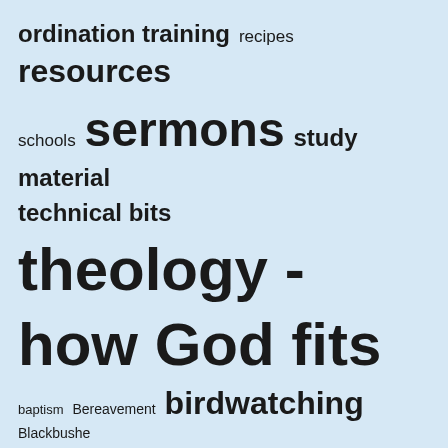[Figure (infographic): Tag cloud showing website categories in varying font sizes indicating frequency/importance: ordination training, recipes, resources, schools, sermons, study material, technical bits, theology - how God fits in, uncategorized, welcome, wildlife, worship, baptism, Bereavement, birdwatching, Blackbushe]
Privacy & Cookies: This site uses cookies. By continuing to use this website, you agree to their use.
To find out more, including how to control cookies, see here: Cookie Policy
Close and accept